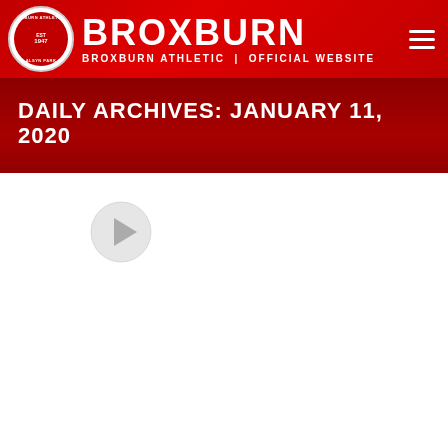[Figure (logo): Broxburn Athletic FC official website header with club crest logo and text 'BROXBURN ATHLETIC | OFFICIAL WEBSITE' on red background with hamburger menu icon]
DAILY ARCHIVES: JANUARY 11, 2020
[Figure (other): Play button icon (circular with triangle) on white background]